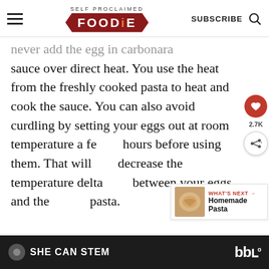SELF PROCLAIMED FOODIE — SUBSCRIBE (search icon)
never add the egg in carbonara sauce over direct heat. You use the heat from the freshly cooked pasta to heat and cook the sauce. You can also avoid curdling by setting your eggs out at room temperature a few hours before using them. That will decrease the temperature delta between your eggs and the pasta.
[Figure (other): Floating sidebar with heart/save button (red circle) and share button with 2.7K count]
[Figure (other): What's Next widget showing Homemade Pasta with thumbnail]
SHE CAN STEM  bbl°